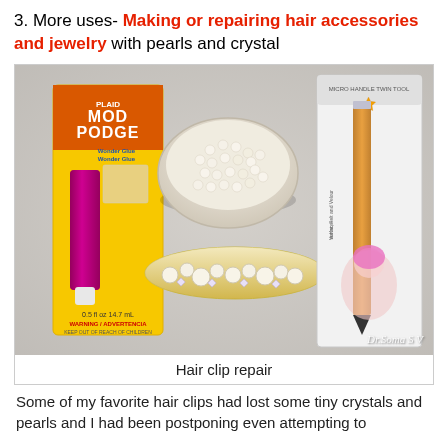3. More uses- Making or repairing hair accessories and jewelry with pearls and crystal
[Figure (photo): Photo showing crafting supplies on a light gray surface: a Mod Podge Wonder Glue tube in yellow packaging on the left, a small bowl of white/cream pearl beads in the center, a bedazzled hair clip with pearls and crystals in the foreground center, and a Crystal Katana dual-ended tool in packaging on the right. Watermark 'Dr.Soma S V' in bottom right.]
Hair clip repair
Some of my favorite hair clips had lost some tiny crystals and pearls and I had been postponing even attempting to